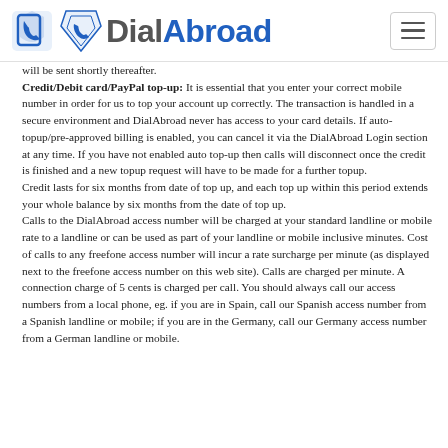DialAbroad
will be sent shortly thereafter. Credit/Debit card/PayPal top-up: It is essential that you enter your correct mobile number in order for us to top your account up correctly. The transaction is handled in a secure environment and DialAbroad never has access to your card details. If auto-topup/pre-approved billing is enabled, you can cancel it via the DialAbroad Login section at any time. If you have not enabled auto top-up then calls will disconnect once the credit is finished and a new topup request will have to be made for a further topup. Credit lasts for six months from date of top up, and each top up within this period extends your whole balance by six months from the date of top up. Calls to the DialAbroad access number will be charged at your standard landline or mobile rate to a landline or can be used as part of your landline or mobile inclusive minutes. Cost of calls to any freefone access number will incur a rate surcharge per minute (as displayed next to the freefone access number on this web site). Calls are charged per minute. A connection charge of 5 cents is charged per call. You should always call our access numbers from a local phone, eg. if you are in Spain, call our Spanish access number from a Spanish landline or mobile; if you are in the Germany, call our Germany access number from a German landline or mobile.